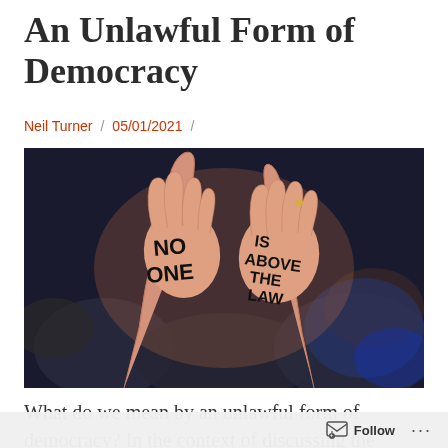An Unlawful Form of Democracy
Neil Turner  /  05/01/2021  /
[Figure (photo): Two hands raised with black marker text written on palms: left hand reads 'NO ONE', right hand reads 'IS ABOVE THE LAW', photographed at a protest with blurred crowd in background.]
What do we mean by an unlawful form of democracy? In the context of discussing the events